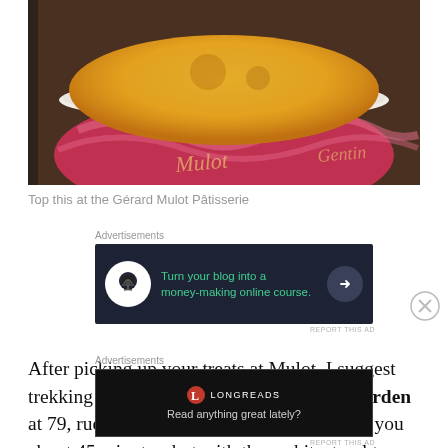[Figure (photo): Close-up photo of a crème brûlée in a red and white decorative cup with 'Mulot' and 'Gentin' text visible on the cup]
Top this at the Gérard Mulot Pâtisserie
[Figure (other): Advertisement banner: Turn your blog into a money-making online course.]
After picking up your treats at Mulot, I suggest trekking to the Musée Rodin Sculpture Garden at 79, rue de Varenne. The walk should take you about 45 minutes, but with the architectural tours de force whizzing by, it will feel
[Figure (other): Advertisement banner: Longreads - Read anything great lately?]